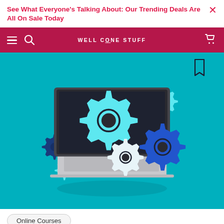See What Everyone's Talking About: Our Trending Deals Are All On Sale Today
WELL COME STUFF
[Figure (illustration): Illustration of a laptop computer with colorful gear/cog icons on a teal background, representing online courses or technology topics. Gears are in cyan, white, dark blue, and blue colors. A bookmark icon is in the top right corner.]
Online Courses